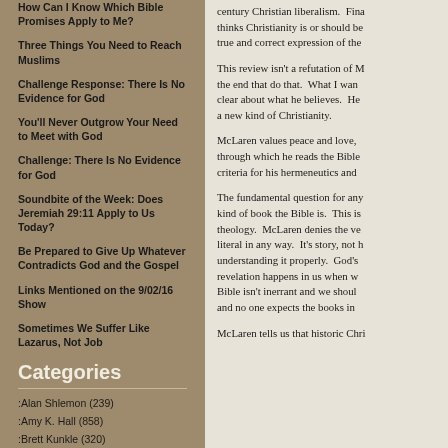How Can I Know Which Bible Promises Apply to Me?
Three Things You Need to Reach Muslims
Challenge Response: There Is No Evidence for God
You'll Never Outgrow Your Need to Meet with God
Challenge: There Is No Evidence for God
Soundbite of the Week: Does Jeremiah 29:11 Apply to Us Today?
Be Prepared to Give Up Whatever Contradicts God and the Gospel
Links Mentioned on the 9/02/16 Show
Sometimes We Suffer Like Lazarus, Not Job
Categories
:Alan Shlemon (239)
:Amy K. Hall (858)
:Brett Kunkle (320)
:Derek White (48)
century Christian liberalism.  Finally, thinks Christianity is or should be... true and correct expression of the...
This review isn't a refutation of M... the end that do that.  What I wan... clear about what he believes.  He... a new kind of Christianity.
McLaren values peace and love,... through which he reads the Bible... criteria for his hermeneutics and...
The fundamental question for any... kind of book the Bible is.  This is... theology.  McLaren denies the ve... literal in any way.  It's story, not h... understanding it properly.  God's... revelation happens in us when w... Bible isn't inerrant and we shoul... and no one expects the books in...
McLaren tells us that historic Chri...